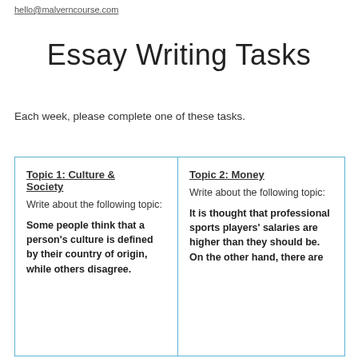hello@malverncourse.com
Essay Writing Tasks
Each week, please complete one of these tasks.
Topic 1: Culture & Society
Write about the following topic:

Some people think that a person's culture is defined by their country of origin, while others disagree.
Topic 2: Money
Write about the following topic:

It is thought that professional sports players' salaries are higher than they should be. On the other hand, there are